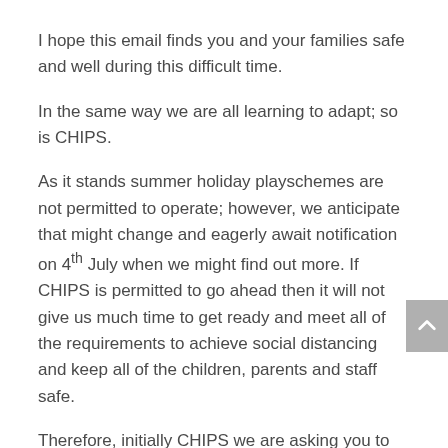I hope this email finds you and your families safe and well during this difficult time.
In the same way we are all learning to adapt; so is CHIPS.
As it stands summer holiday playschemes are not permitted to operate; however, we anticipate that might change and eagerly await notification on 4th July when we might find out more. If CHIPS is permitted to go ahead then it will not give us much time to get ready and meet all of the requirements to achieve social distancing and keep all of the children, parents and staff safe.
Therefore, initially CHIPS we are asking you to register your interest in your child attending for a week during:
PROVISIONAL DATES OF :